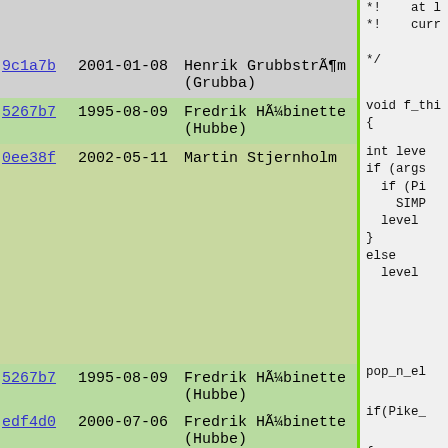| commit | date | author | code |
| --- | --- | --- | --- |
|  |  |  | *!    at l
*!    curr |
| 9c1a7b | 2001-01-08 | Henrik Grubbström (Grubba) | */ |
| 5267b7 | 1995-08-09 | Fredrik Hübinette (Hubbe) | void f_thi
{ |
| 0ee38f | 2002-05-11 | Martin Stjernholm | int leve
if (args
  if (Pi
    SIMP
  level
}
else
  level |
| 5267b7 | 1995-08-09 | Fredrik Hübinette (Hubbe) | pop_n_el |
| edf4d0 | 2000-07-06 | Fredrik Hübinette (Hubbe) | if(Pike_ |
| cb2256 | 1995-10-11 | Fredrik Hübinette (Hubbe) | { |
| 0ee38f | 2002-05-11 | Martin Stjernholm | struct
for (;
  stru
  if (
    Pi
  if (
    /*
    Pi |